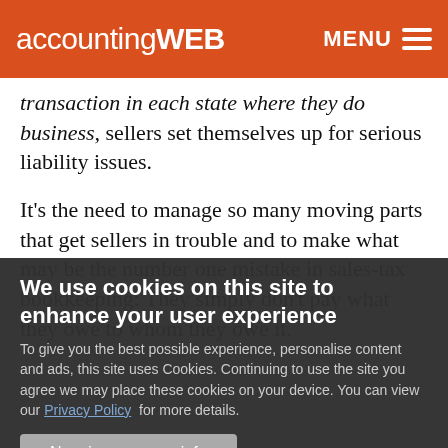accountingWEB  MENU
transaction in each state where they do business, sellers set themselves up for serious liability issues.
It's the need to manage so many moving parts that get sellers in trouble and to make what may be the number one mistake in sales-tax bookkeeping: They simply don't pay what they owe to whom they owe it.
We use cookies on this site to enhance your user experience
To give you the best possible experience, personalise content and ads, this site uses Cookies. Continuing to use the site you agree we may place these cookies on your device. You can view our Privacy Policy for more details.
No, give me more info
OK, I agree